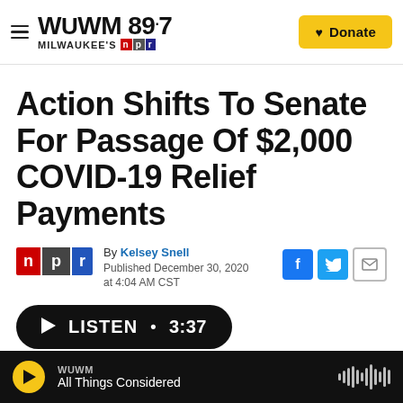WUWM 89.7 Milwaukee's NPR | Donate
Action Shifts To Senate For Passage Of $2,000 COVID-19 Relief Payments
By Kelsey Snell
Published December 30, 2020 at 4:04 AM CST
LISTEN • 3:37
WUWM
All Things Considered